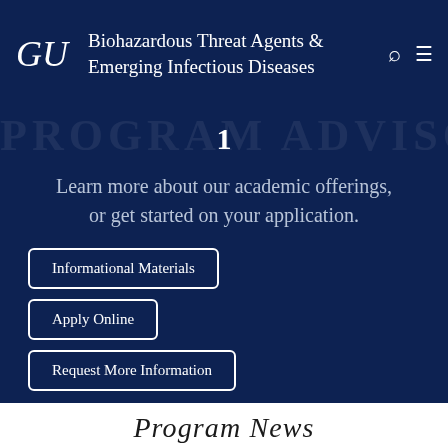GU — Biohazardous Threat Agents & Emerging Infectious Diseases
1
Learn more about our academic offerings, or get started on your application.
Informational Materials
Apply Online
Request More Information
Program News